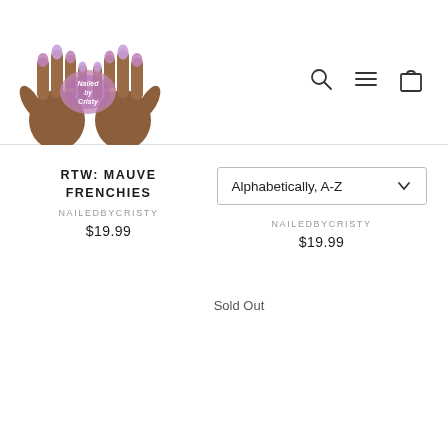[Figure (logo): NailedByCristy logo with illustrated brown hands showing mauve/purple nails raised, with colorful brand text in center]
[Figure (other): Navigation icons: search magnifying glass, hamburger menu, shopping bag]
[Figure (other): Sort dropdown selector showing 'Alphabetically, A-Z' with chevron]
RTW: MAUVE FRENCHIES
NAILEDBYCRISTY
$19.99
NAILEDBYCRISTY
$19.99
Sold Out